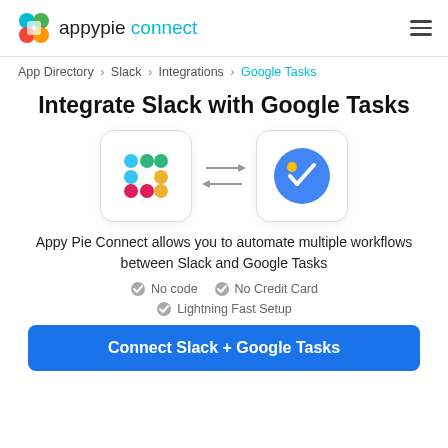appypie connect
App Directory > Slack > Integrations > Google Tasks
Integrate Slack with Google Tasks
[Figure (illustration): Slack logo icon and Google Tasks logo icon with bidirectional arrows between them]
Appy Pie Connect allows you to automate multiple workflows between Slack and Google Tasks
No code
No Credit Card
Lightning Fast Setup
Connect Slack + Google Tasks